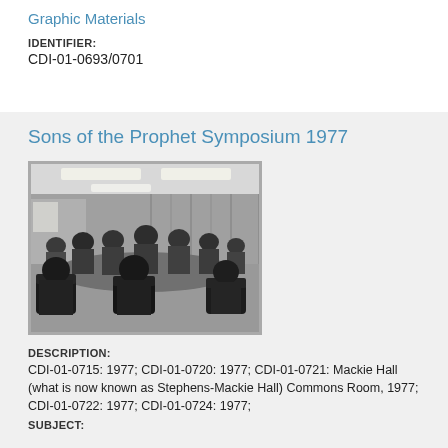Graphic Materials
IDENTIFIER:
CDI-01-0693/0701
Sons of the Prophet Symposium 1977
[Figure (photo): Black and white photograph of people seated around tables in a conference or meeting room setting, viewed from the back, with fluorescent ceiling lights and curtains visible in the background.]
DESCRIPTION:
CDI-01-0715: 1977; CDI-01-0720: 1977; CDI-01-0721: Mackie Hall (what is now known as Stephens-Mackie Hall) Commons Room, 1977; CDI-01-0722: 1977; CDI-01-0724: 1977;
SUBJECT: